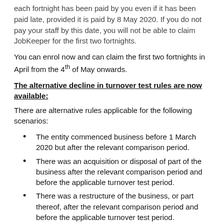each fortnight has been paid by you even if it has been paid late, provided it is paid by 8 May 2020. If you do not pay your staff by this date, you will not be able to claim JobKeeper for the first two fortnights.
You can enrol now and can claim the first two fortnights in April from the 4th of May onwards.
The alternative decline in turnover test rules are now available:
There are alternative rules applicable for the following scenarios:
The entity commenced business before 1 March 2020 but after the relevant comparison period.
There was an acquisition or disposal of part of the business after the relevant comparison period and before the applicable turnover test period.
There was a restructure of the business, or part thereof, after the relevant comparison period and before the applicable turnover test period.